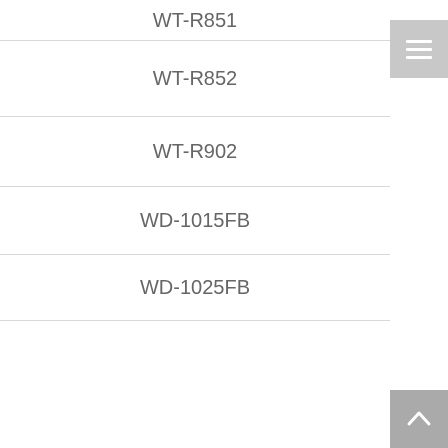WT-R851
WT-R852
WT-R902
WD-1015FB
WD-1025FB
WD-1074FHB
WD-1223FB
WD-1236TD
WD-1274FHB
WD-1413RD